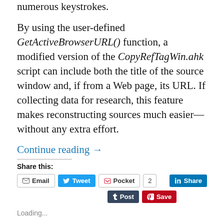numerous keystrokes.
By using the user-defined GetActiveBrowserURL() function, a modified version of the CopyRefTagWin.ahk script can include both the title of the source window and, if from a Web page, its URL. If collecting data for research, this feature makes reconstructing sources much easier—without any extra effort.
Continue reading →
Share this:
Email  Tweet  Pocket  2  Share  Post  Save
Loading...